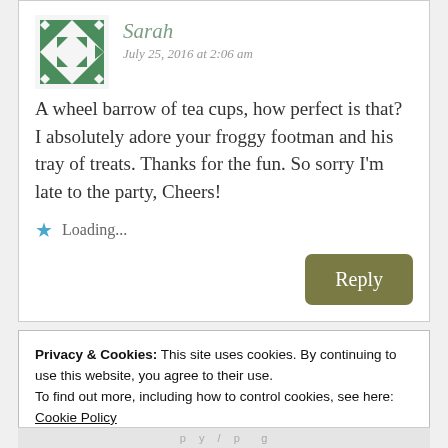Sarah
July 25, 2016 at 2:06 am
A wheel barrow of tea cups, how perfect is that? I absolutely adore your froggy footman and his tray of treats. Thanks for the fun. So sorry I'm late to the party, Cheers!
Loading...
Reply
Privacy & Cookies: This site uses cookies. By continuing to use this website, you agree to their use.
To find out more, including how to control cookies, see here:
Cookie Policy
Close and accept
p y / p g